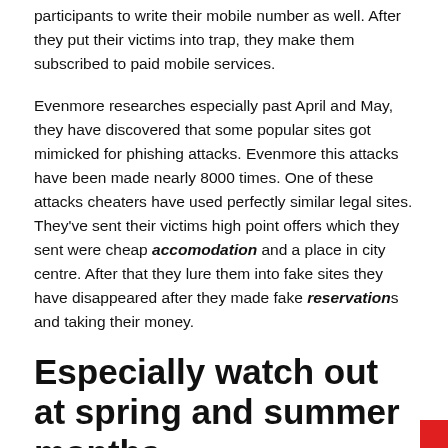participants to write their mobile number as well. After they put their victims into trap, they make them subscribed to paid mobile services.
Evenmore researches especially past April and May, they have discovered that some popular sites got mimicked for phishing attacks. Evenmore this attacks have been made nearly 8000 times. One of these attacks cheaters have used perfectly similar legal sites. They've sent their victims high point offers which they sent were cheap accomodation and a place in city centre. After that they lure them into fake sites they have disappeared after they made fake reservations and taking their money.
Especially watch out at spring and summer months.